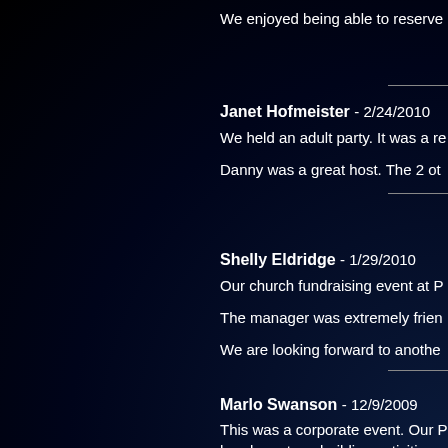We enjoyed being able to reserve
Janet Hofmeister - 2/24/2010
We held an adult party. It was a re

Danny was a great host. The 2 ot
Shelly Eldridge - 1/29/2010
Our church fundraising event at P

The manager was extremely frien

We are looking forward to anothe
Marlo Swanson - 12/9/2009
This was a corporate event. Our P hands-on teambuilding activities.

I will definitely use this facility aga

Thanks